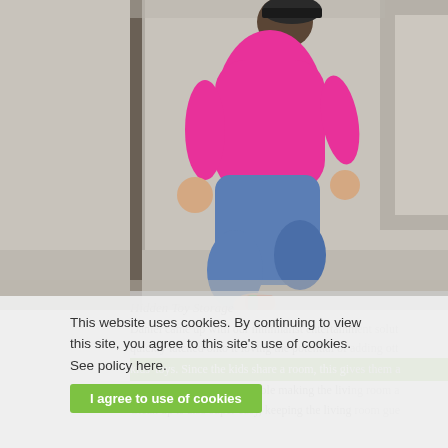[Figure (photo): A young child wearing a pink shirt and blue jeans, kneeling or crouching on carpet near stair steps, photographed from behind/side angle.]
This website uses cookies. By continuing to view this site, you agree to this site's use of cookies. See policy here.
Hidden Toy Storage
Daniel came up with our minimalist entertainment solution quickly latched onto it loving the potential of adding ott kids' toys. Since the kids share a room, this gives them a also makes it easily accessible making the living room a Clean up is also super easy, keeping the living room gue
I agree to use of cookies